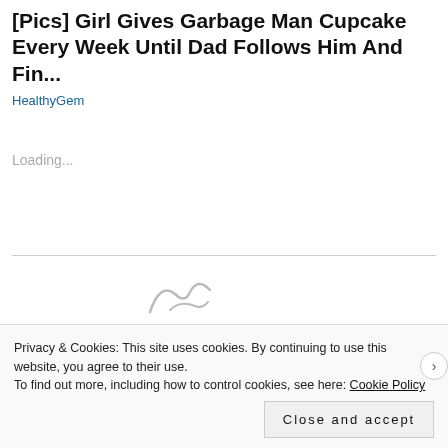[Pics] Girl Gives Garbage Man Cupcake Every Week Until Dad Follows Him And Fin...
HealthyGem
Loading...
[Figure (illustration): Partial cursive/script style logo or watermark visible below a horizontal rule]
Privacy & Cookies: This site uses cookies. By continuing to use this website, you agree to their use.
To find out more, including how to control cookies, see here: Cookie Policy
Close and accept